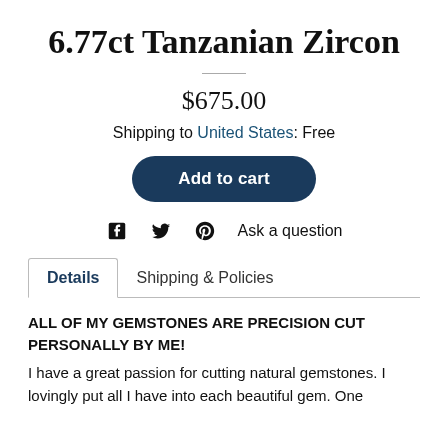6.77ct Tanzanian Zircon
$675.00
Shipping to United States: Free
Add to cart
Ask a question
Details | Shipping & Policies
ALL OF MY GEMSTONES ARE PRECISION CUT PERSONALLY BY ME!
I have a great passion for cutting natural gemstones. I lovingly put all I have into each beautiful gem. One